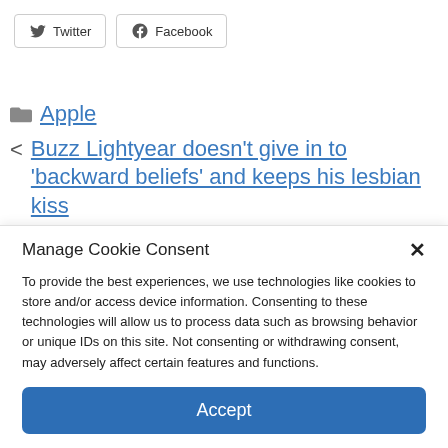[Figure (screenshot): Social share buttons: Twitter and Facebook with icons and border outlines]
Apple
< Buzz Lightyear doesn’t give in to ‘backward beliefs’ and keeps his lesbian kiss
> Tragedy! NASA Says the Voyager Space
Manage Cookie Consent
To provide the best experiences, we use technologies like cookies to store and/or access device information. Consenting to these technologies will allow us to process data such as browsing behavior or unique IDs on this site. Not consenting or withdrawing consent, may adversely affect certain features and functions.
Accept
Cookie Policy